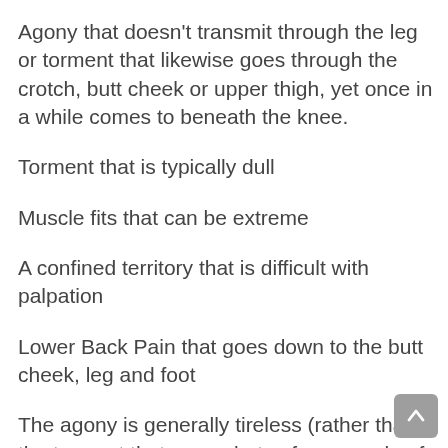Agony that doesn't transmit through the leg or torment that likewise goes through the crotch, butt cheek or upper thigh, yet once in a while comes to beneath the knee.
Torment that is typically dull
Muscle fits that can be extreme
A confined territory that is difficult with palpation
Lower Back Pain that goes down to the butt cheek, leg and foot
The agony is generally tireless (rather than the torment that exacerbates for a couple of days or